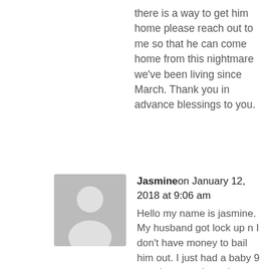there is a way to get him home please reach out to me so that he can come home from this nightmare we've been living since March. Thank you in advance blessings to you.
[Figure (illustration): Grey avatar placeholder image with silhouette of a person]
Jasmine on January 12, 2018 at 9:06 am
Hello my name is jasmine. My husband got lock up n I don't have money to bail him out. I just had a baby 9 months ago n I need ur help please. This is our first kid